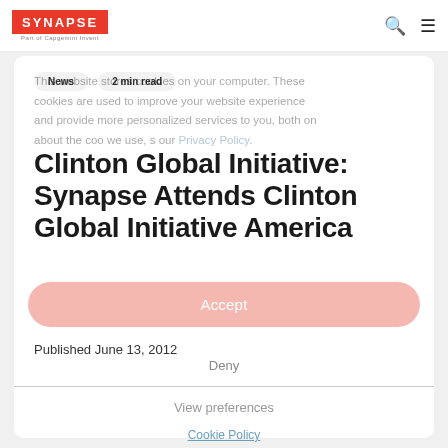SYNAPSE Part of Capgemini Invent
News   2 min read
This website stores cookies on your computer. These cookies are used to improve your website experience and provide more personalized services to you, both on about the coo we use, s our Privacy Policy.
Clinton Global Initiative: Synapse Attends Clinton Global Initiative America
Accept
Published June 13, 2012
Deny
View preferences
Cookie Policy